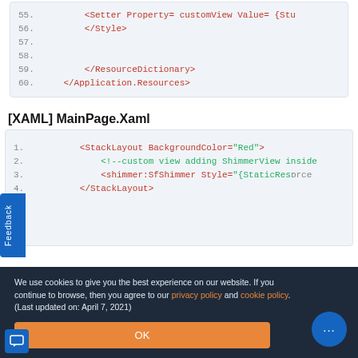[Figure (screenshot): Code block showing XAML lines 55-60 with XML tags in orange/red on light blue background. Lines 55 (partial: <Setter Property=customView Value={Stu), 56 (</Style>), 57 (blank), 58 (blank), 59 (</ResourceDictionary>), 60 (</Application.Resources>)]
[XAML] MainPage.Xaml
[Figure (screenshot): Code block showing XAML lines 1-4: 1. <StackLayout BackgroundColor="Red">, 2. <!--custom view adding ShimmerView inside, 3. <shimmer:SfShimmer Style="{StaticResource, 4. </StackLayout>]
We use cookies to give you the best experience on our website. If you continue to browse, then you agree to our privacy policy and cookie policy.  (Last updated on: April 7, 2021)